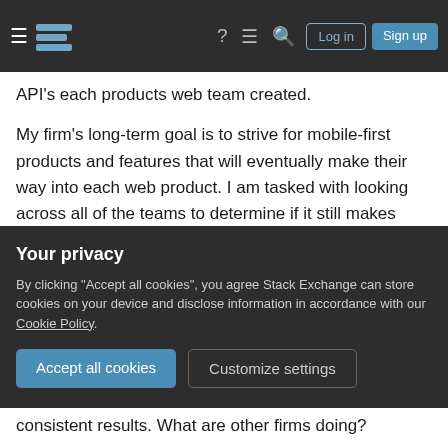Stack Exchange navigation bar with hamburger menu, logo, help, chat, search icons, Log in and Sign up buttons
API's each products web team created.
My firm's long-term goal is to strive for mobile-first products and features that will eventually make their way into each web product. I am tasked with looking across all of the teams to determine if it still makes sense to have a single mobile scrum team in lieu of each web team building both mobile and web versions of their products. Bringing dedicated iOS and android developers to each web scrum team. That way each team controls their product from mobile to web. Their domain knowledge stays within
Your privacy
By clicking "Accept all cookies", you agree Stack Exchange can store cookies on your device and disclose information in accordance with our Cookie Policy.
consistent results. What are other firms doing?